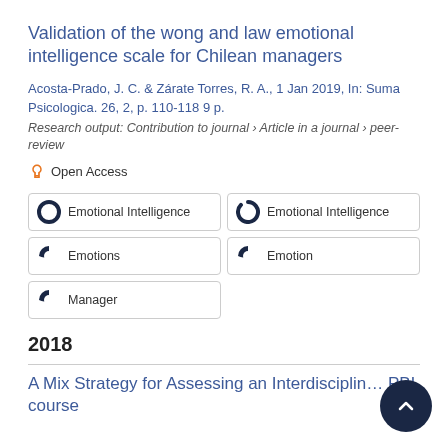Validation of the wong and law emotional intelligence scale for Chilean managers
Acosta-Prado, J. C. & Zárate Torres, R. A., 1 Jan 2019, In: Suma Psicologica. 26, 2, p. 110-118 9 p.
Research output: Contribution to journal › Article in a journal › peer-review
Open Access
Emotional Intelligence
Emotional Intelligence
Emotions
Emotion
Manager
2018
A Mix Strategy for Assessing an Interdisciplin… PBL course